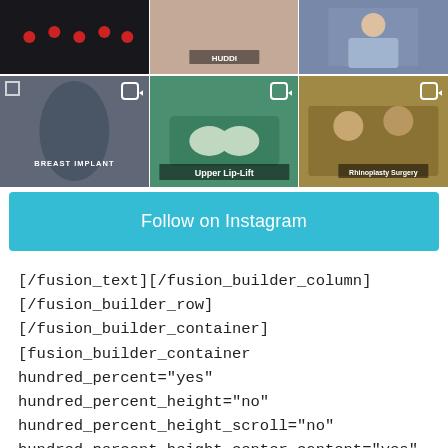[Figure (photo): 3x2 grid of Instagram-style images showing plastic surgery content: top row has 3 thumbnail images (dark background with red dots/hearts, body image with HUDDI label, surgeon with crossed arms), bottom row has 3 reel-style images (Breast Implant promotional image, Upper Lip-Lift surgery procedure, Rhinoplasty surgery)]
Follow on Instagram
[/fusion_text][/fusion_builder_column] [/fusion_builder_row][/fusion_builder_container] [fusion_builder_container hundred_percent="yes" hundred_percent_height="no" hundred_percent_height_scroll="no" hundred_percent_height_center_content="yes" equal_height_columns="yes" menu_anchor="" hide_on_mobile="no" class="" id=""